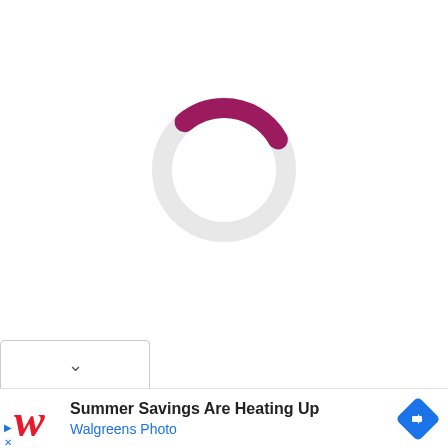[Figure (other): Loading spinner: a circular ring in light gray with a magenta/dark pink arc segment at the bottom-right, indicating a loading state.]
[Figure (other): Dropdown UI element: a white rounded rectangle with a downward-pointing chevron (v) symbol.]
[Figure (other): Advertisement banner for Walgreens Photo. Contains the Walgreens cursive 'W' logo in red, the text 'Summer Savings Are Heating Up' in bold black, 'Walgreens Photo' in blue, and a blue diamond-shaped navigation icon with a white arrow on the right. Small blue triangle and 'x' on the far left bottom.]